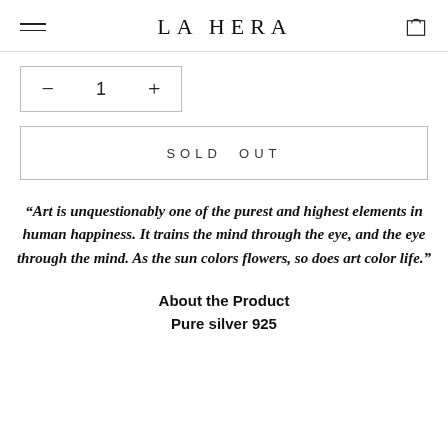LA HERA
[Figure (other): Quantity selector with minus, 1, plus buttons inside a bordered box]
[Figure (other): SOLD OUT button inside a bordered rectangle]
“Art is unquestionably one of the purest and highest elements in human happiness. It trains the mind through the eye, and the eye through the mind. As the sun colors flowers, so does art color life.”
About the Product
Pure silver 925